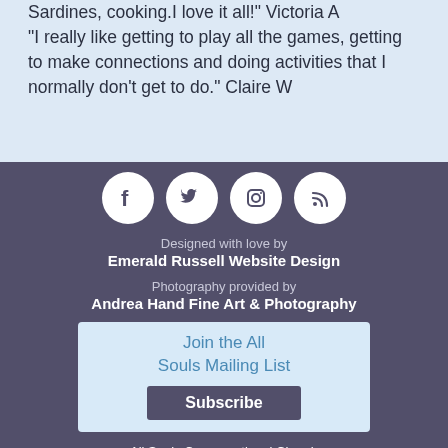Sardines, cooking.I love it all!" Victoria A
"I really like getting to play all the games, getting to make connections and doing activities that I normally don't get to do." Claire W
[Figure (illustration): Four social media icons (Facebook, Twitter, Instagram, RSS feed) in white circles on purple/dark background]
Designed with love by
Emerald Russell Website Design
Photography provided by
Andrea Hand Fine Art & Photography
Join the All Souls Mailing List
Subscribe
All Souls Congregational Church
10 Broadway, Bangor, ME 04401
207-942-7354